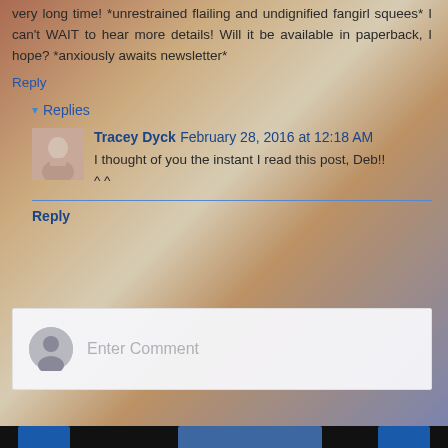very long time! *unrestrained flailing and undignified fangirl squees* I can't WAIT to hear more details! Will it be available in paperback, I hope? *anxiously awaits newsletter*
Reply
▾ Replies
Tracey Dyck February 28, 2016 at 12:18 AM
I thought of you the instant I read this post, Deb!! ^ ^
Reply
Enter Comment